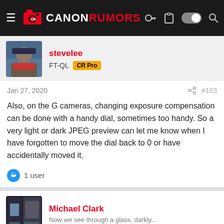CANON RUMORS
[Figure (photo): User avatar photo of stevelee wearing a cap and mask]
stevelee
FT-QL  CR Pro
Jan 27, 2020  #103
Also, on the G cameras, changing exposure compensation can be done with a handy dial, sometimes too handy. So a very light or dark JPEG preview can let me know when I have forgotten to move the dial back to 0 or have accidentally moved it.
1 user
[Figure (photo): User avatar photo of Michael Clark showing a dark doorway scene]
Michael Clark
Now we see through a glass, darkly...
Ad
Jan 28, 2020